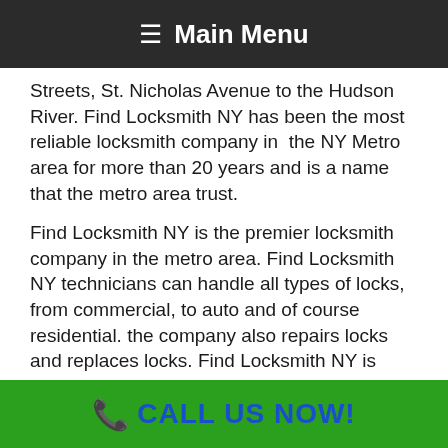≡ Main Menu
Streets, St. Nicholas Avenue to the Hudson River. Find Locksmith NY has been the most reliable locksmith company in  the NY Metro area for more than 20 years and is a name that the metro area trust.

Find Locksmith NY is the premier locksmith company in the metro area. Find Locksmith NY technicians can handle all types of locks, from commercial, to auto and of course residential. the company also repairs locks and replaces locks. Find Locksmith NY is available 24 hours a day, 7 days a week. So call now at (347) 448-4322 and let Find
📞 CALL US NOW!